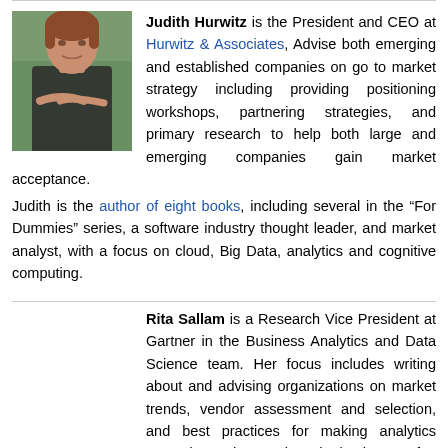[Figure (photo): Professional headshot of Judith Hurwitz, a woman with short reddish-brown hair, wearing a dark top with arms crossed, against a blurred outdoor background.]
Judith Hurwitz is the President and CEO at Hurwitz & Associates, Advise both emerging and established companies on go to market strategy including providing positioning workshops, partnering strategies, and primary research to help both large and emerging companies gain market acceptance. Judith is the author of eight books, including several in the “For Dummies” series, a software industry thought leader, and market analyst, with a focus on cloud, Big Data, analytics and cognitive computing.
Rita Sallam is a Research Vice President at Gartner in the Business Analytics and Data Science team. Her focus includes writing about and advising organizations on market trends, vendor assessment and selection, and best practices for making analytics pervasive and strategic to the business. Of